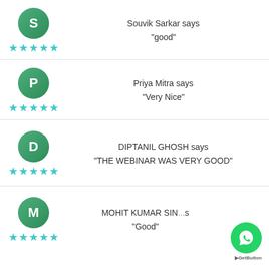Souvik Sarkar says "good" ★★★★★
Priya Mitra says "Very Nice" ★★★★★
DIPTANIL GHOSH says "THE WEBINAR WAS VERY GOOD" ★★★★★
MOHIT KUMAR SIN... says "Good" ★★★★★